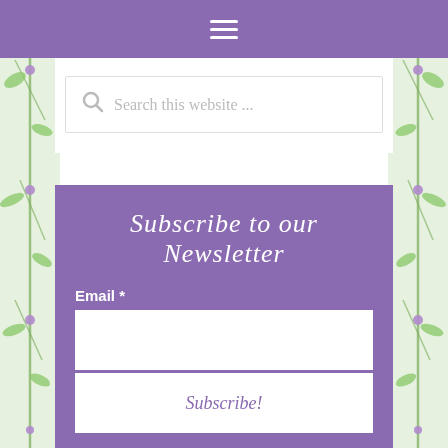☰ (hamburger menu icon)
Search this website ...
Subscribe to our Newsletter
Email *
Subscribe!
Additional subscriptions:
New Posts Daily